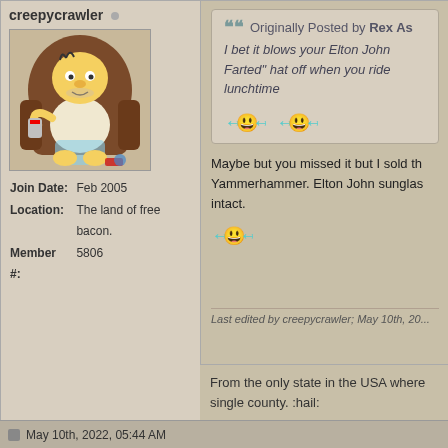creepycrawler
[Figure (illustration): Homer Simpson sitting in a recliner chair in underwear, holding a can, cartoon avatar image]
Join Date: Feb 2005
Location: The land of free bacon.
Member #: 5806
Originally Posted by Rex As
I bet it blows your Elton John Farted" hat off when you ride lunchtime
Maybe but you missed it but I sold th Yammerhammer. Elton John sunglas intact.
Last edited by creepycrawler; May 10th, 20...
From the only state in the USA where single county. :hail:
May 10th, 2022, 05:44 AM